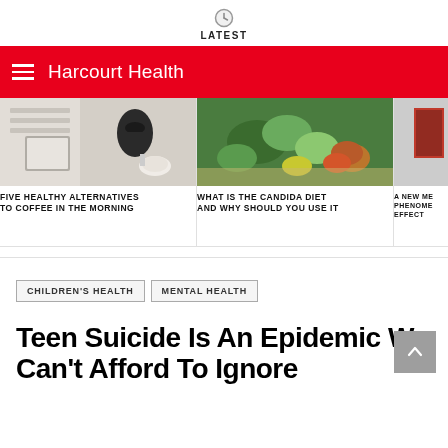LATEST
Harcourt Health
[Figure (photo): Coffee maker, tablet and coffee cup on white table]
FIVE HEALTHY ALTERNATIVES TO COFFEE IN THE MORNING
[Figure (photo): Fresh vegetables and spices on a cutting board]
WHAT IS THE CANDIDA DIET AND WHY SHOULD YOU USE IT
[Figure (photo): Person with red backpack, partially cropped]
A NEW ME PHENOME EFFECT
CHILDREN'S HEALTH
MENTAL HEALTH
Teen Suicide Is An Epidemic We Can't Afford To Ignore